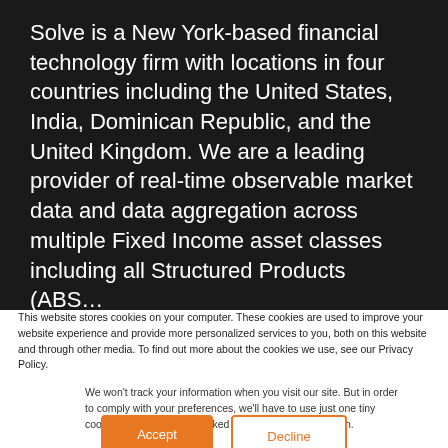Solve is a New York-based financial technology firm with locations in four countries including the United States, India, Dominican Republic, and the United Kingdom. We are a leading provider of real-time observable market data and data aggregation across multiple Fixed Income asset classes including all Structured Products (ABS…
This website stores cookies on your computer. These cookies are used to improve your website experience and provide more personalized services to you, both on this website and through other media. To find out more about the cookies we use, see our Privacy Policy.
We won't track your information when you visit our site. But in order to comply with your preferences, we'll have to use just one tiny cookie so that you're not asked to make this choice again.